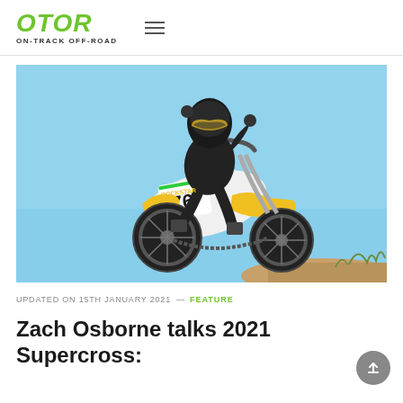OTOR ON-TRACK OFF-ROAD
[Figure (photo): A motocross rider wearing black and gold gear with number 76, riding a yellow and white Husqvarna dirt bike airborne against a clear blue sky background. The bike shows Rockstar Energy branding.]
UPDATED ON 15TH JANUARY 2021 — FEATURE
Zach Osborne talks 2021 Supercross: